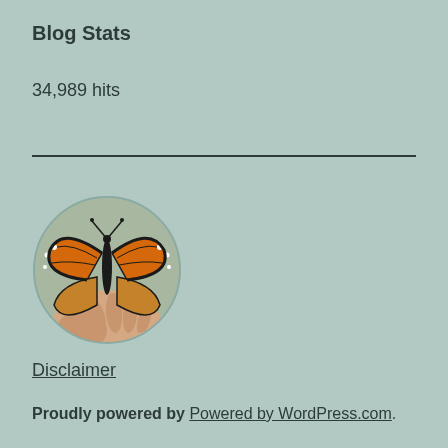Blog Stats
34,989 hits
[Figure (photo): Circular photo of a monarch butterfly resting on a person's hand, with orange and black wing patterns visible, on a light greenish background.]
Disclaimer
Proudly powered by Powered by WordPress.com.